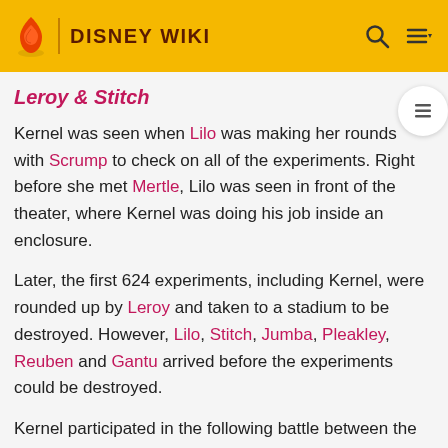DISNEY WIKI
Leroy & Stitch
Kernel was seen when Lilo was making her rounds with Scrump to check on all of the experiments. Right before she met Mertle, Lilo was seen in front of the theater, where Kernel was doing his job inside an enclosure.
Later, the first 624 experiments, including Kernel, were rounded up by Leroy and taken to a stadium to be destroyed. However, Lilo, Stitch, Jumba, Pleakley, Reuben and Gantu arrived before the experiments could be destroyed.
Kernel participated in the following battle between the experiments and the Leroy clones.